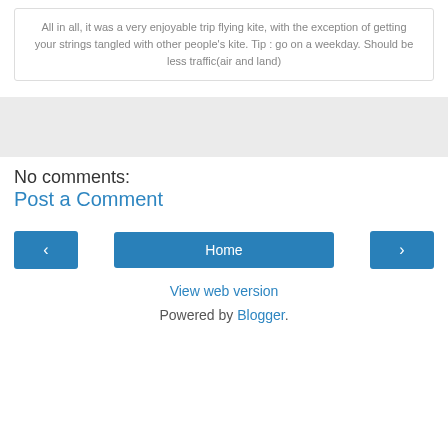All in all, it was a very enjoyable trip flying kite, with the exception of getting your strings tangled with other people's kite. Tip : go on a weekday. Should be less traffic(air and land)
[Figure (other): Gray advertisement block placeholder]
No comments:
Post a Comment
‹
Home
›
View web version
Powered by Blogger.